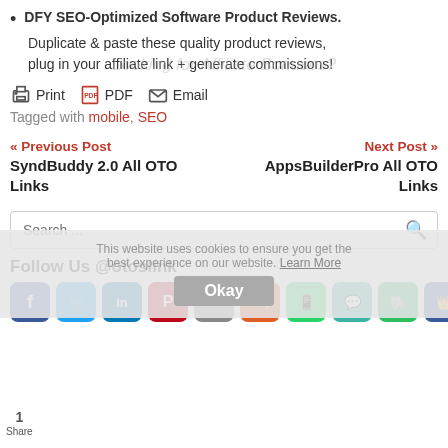DFY SEO-Optimized Software Product Reviews.
Duplicate & paste these quality product reviews, plug in your affiliate link + generate commissions!
Print  PDF  Email
Tagged with mobile, SEO
« Previous Post
SyndBuddy 2.0 All OTO Links
Next Post »
AppsBuilderPro All OTO Links
Search ...
Follow Us @otoslink
1 Share